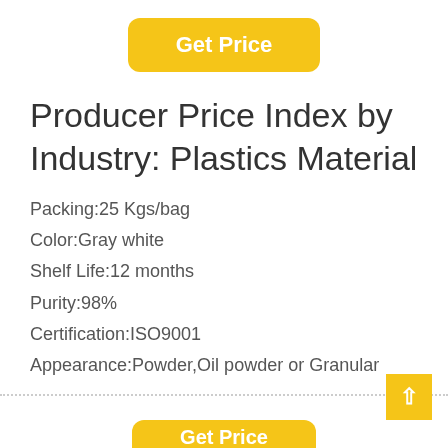[Figure (other): Yellow rounded button labeled 'Get Price']
Producer Price Index by Industry: Plastics Material
Packing:25 Kgs/bag
Color:Gray white
Shelf Life:12 months
Purity:98%
Certification:ISO9001
Appearance:Powder,Oil powder or Granular
[Figure (other): Partially visible yellow 'Get Price' button at bottom of page]